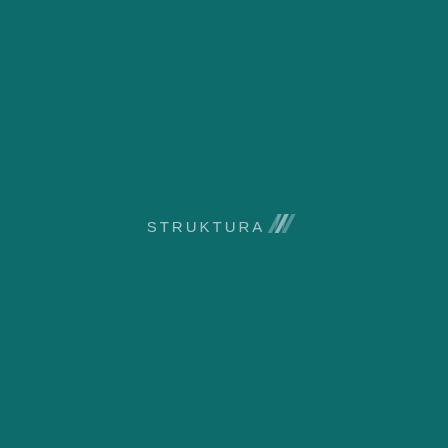[Figure (logo): STRUKTURA logo with text 'STRUKTURA' in light teal/grey uppercase letters followed by a geometric chevron/arrow icon made of overlapping triangular shapes, centered on a dark teal background]